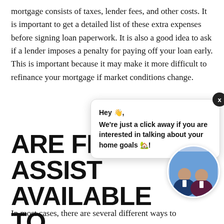mortgage consists of taxes, lender fees, and other costs. It is important to get a detailed list of these extra expenses before signing loan paperwork. It is also a good idea to ask if a lender imposes a penalty for paying off your loan early. This is important because it may make it more difficult to refinance your mortgage if market conditions change.
[Figure (screenshot): Chat popup overlay with close button (x), greeting 'Hey 👋,' and message 'We're just a click away if you are interested in talking about your home goals 🏡!' with agent photo (two men in suits) in a circular frame at bottom right.]
ARE FINANCIAL ASSISTANCE PROGRAMS AVAILABLE TO BORROWERS LIKE ME
In most cases, there are several different ways to